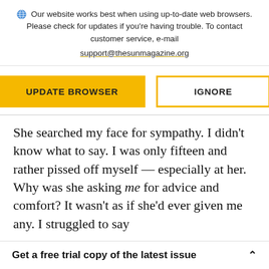Our website works best when using up-to-date web browsers. Please check for updates if you're having trouble. To contact customer service, e-mail support@thesunmagazine.org
[Figure (infographic): Two buttons: a filled yellow 'UPDATE BROWSER' button and an outlined yellow 'IGNORE' button]
She searched my face for sympathy. I didn't know what to say. I was only fifteen and rather pissed off myself — especially at her. Why was she asking me for advice and comfort? It wasn't as if she'd ever given me any. I struggled to say
Get a free trial copy of the latest issue